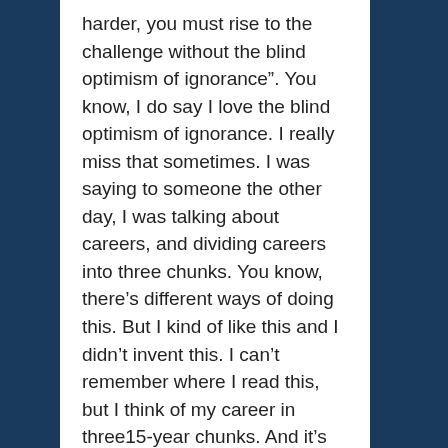harder, you must rise to the challenge without the blind optimism of ignorance". You know, I do say I love the blind optimism of ignorance. I really miss that sometimes. I was saying to someone the other day, I was talking about careers, and dividing careers into three chunks. You know, there’s different ways of doing this. But I kind of like this and I didn’t invent this. I can’t remember where I read this, but I think of my career in three15-year chunks. And it’s not precisely but pretty precisely fallen into these three chunks. The first 15